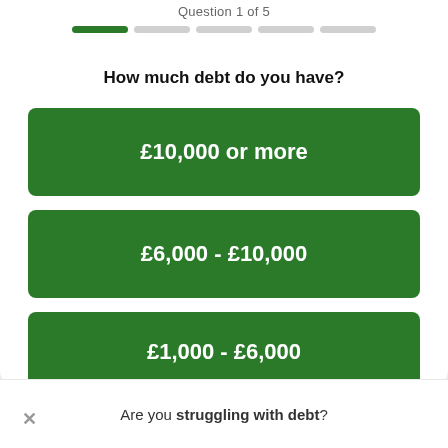Question 1 of 5
[Figure (infographic): Progress bar with 5 segments, first segment active (dark green), remaining 4 inactive (light grey)]
How much debt do you have?
£10,000 or more
£6,000 - £10,000
£1,000 - £6,000
Are you struggling with debt?